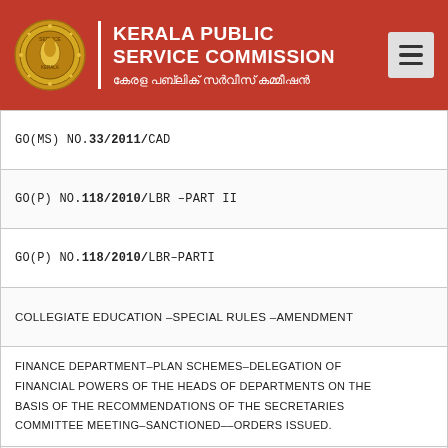KERALA PUBLIC SERVICE COMMISSION | കേരള പബ്ലിക് സർവീസ് കമ്മീഷൻ
| GO(MS) NO.33/2011/CAD |
| GO(P) NO.118/2010/LBR –PART II |
| GO(P) NO.118/2010/LBR–PARTI |
| COLLEGIATE EDUCATION –SPECIAL RULES –AMENDMENT |
| FINANCE DEPARTMENT–PLAN SCHEMES–DELEGATION OF FINANCIAL POWERS OF THE HEADS OF DEPARTMENTS ON THE BASIS OF THE RECOMMENDATIONS OF THE SECRETARIES COMMITTEE MEETING–SANCTIONED––ORDERS ISSUED. |
| REVISION OF PENSION AND OTHER RELATED BENEFITS – |